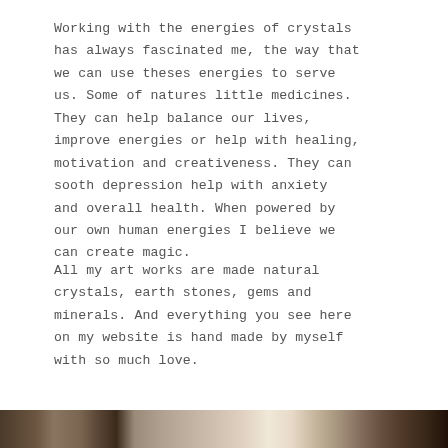Working with the energies of crystals has always fascinated me, the way that we can use theses energies to serve us. Some of natures little medicines. They can help balance our lives, improve energies or help with healing, motivation and creativeness. They can sooth depression help with anxiety and overall health. When powered by our own human energies I believe we can create magic.
All my art works are made natural crystals, earth stones, gems and minerals. And everything you see here on my website is hand made by myself with so much love.
[Figure (photo): A horizontal strip of photographs showing crystals or nature-related artwork at the bottom of the page]